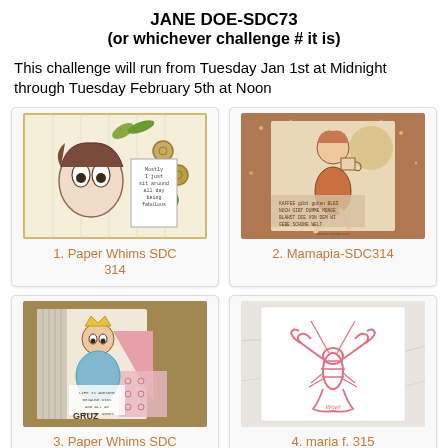JANE DOE-SDC73
(or whichever challenge # it is)
This challenge will run from Tuesday Jan 1st at Midnight through Tuesday February 5th at Noon
[Figure (photo): Artwork card 1: illustration of a whimsical girl with big eyes, text stamps, buttons, leaves on yellow striped background]
1. Paper Whims SDC 314
[Figure (photo): Artwork card 2: vintage-style illustration of a girl with coffee cup, coffee-themed text, warm brown tones]
2. Mamapia-SDC314
[Figure (photo): Artwork card 3: mixed media collage with a whimsical girl, colorful papers, pink triangle, text stamps on burlap background]
3. Paper Whims SDC
[Figure (photo): Artwork card 4: simple stamped image of a lobster/crawfish in pink/red on white cardstock with marble background]
4. maria f. 315